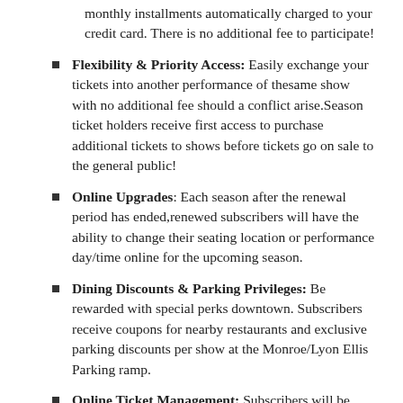monthly installments automatically charged to your credit card. There is no additional fee to participate!
Flexibility & Priority Access: Easily exchange your tickets into another performance of thesame show with no additional fee should a conflict arise.Season ticket holders receive first access to purchase additional tickets to shows before tickets go on sale to the general public!
Online Upgrades: Each season after the renewal period has ended,renewed subscribers will have the ability to change their seating location or performance day/time online for the upcoming season.
Dining Discounts & Parking Privileges: Be rewarded with special perks downtown. Subscribers receive coupons for nearby restaurants and exclusive parking discounts per show at the Monroe/Lyon Ellis Parking ramp.
Online Ticket Management: Subscribers will be